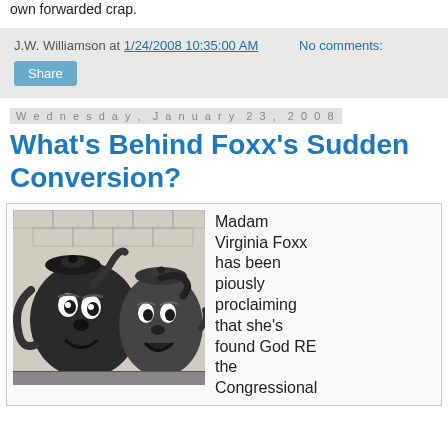own forwarded crap.
J.W. Williamson at 1/24/2008 10:35:00 AM   No comments:
Share
Wednesday, January 23, 2008
What's Behind Foxx's Sudden Conversion?
[Figure (illustration): Black and white illustration of two anthropomorphic teapots with human faces]
Madam Virginia Foxx has been piously proclaiming that she's found God RE the Congressional